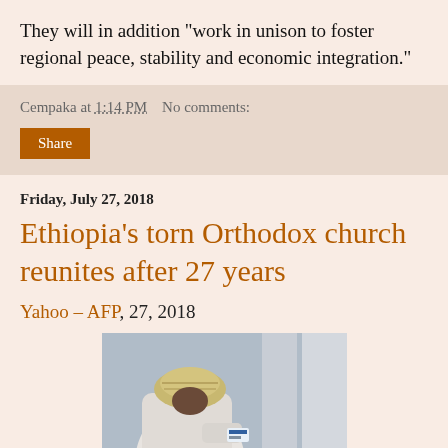They will in addition "work in unison to foster regional peace, stability and economic integration."
Cempaka at 1:14 PM   No comments:
Share
Friday, July 27, 2018
Ethiopia's torn Orthodox church reunites after 27 years
Yahoo – AFP, 27, 2018
[Figure (photo): A person wearing a white beanie hat and white hoodie, viewed from above/behind, holding something small.]